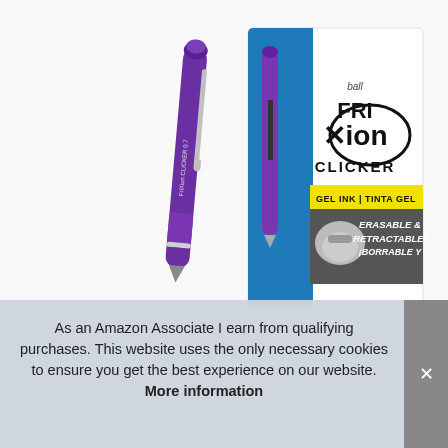[Figure (photo): Product photo of Pilot FriXion Ball Clicker retractable erasable gel ink pen in purple. Shows a standalone purple pen on the left and the pen inside its retail packaging on the right. The packaging is white and blue with bold FriXion Clicker branding, a yellow 'GEL INK | TINTA GEL' band, and grey section reading 'ERASABLE & RETRACTABLE! ¡BORRABLE Y' in white italic text.]
As an Amazon Associate I earn from qualifying purchases. This website uses the only necessary cookies to ensure you get the best experience on our website. More information